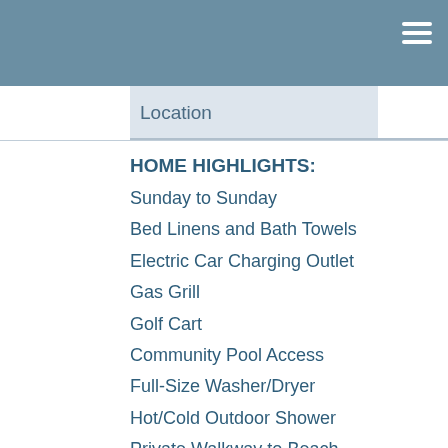Location
HOME HIGHLIGHTS:
Sunday to Sunday
Bed Linens and Bath Towels
Electric Car Charging Outlet
Gas Grill
Golf Cart
Community Pool Access
Full-Size Washer/Dryer
Hot/Cold Outdoor Shower
Private Walkway to Beach
WiFi throughout Home
Private Pool for 2023!